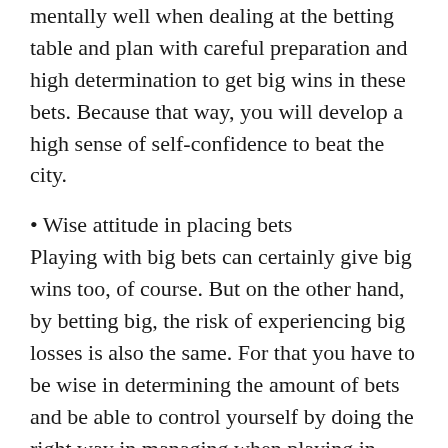mentally well when dealing at the betting table and plan with careful preparation and high determination to get big wins in these bets. Because that way, you will develop a high sense of self-confidence to beat the city.
• Wise attitude in placing bets
Playing with big bets can certainly give big wins too, of course. But on the other hand, by betting big, the risk of experiencing big losses is also the same. For that you have to be wise in determining the amount of bets and be able to control yourself by doing the right way in managing when playing in online casino games later. With it, you can reduce the risk of defeat and increase the chance of victory.
• Patience and good emotional control
As is known, almost every online gambling game